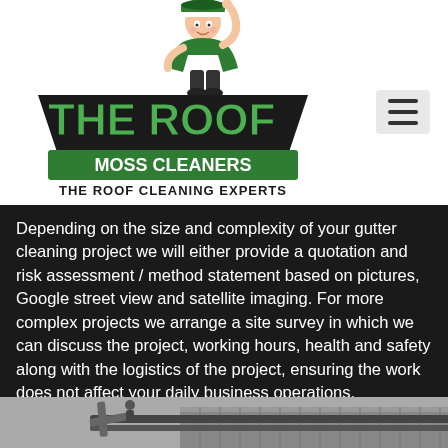[Figure (logo): The Roof Moss Cleaners logo with cartoon man in green uniform pointing up, bold green and white text reading THE ROOF MOSS CLEANERS, tagline THE ROOF CLEANING EXPERTS]
Depending on the size and complexity of your gutter cleaning project we will either provide a quotation and risk assessment / method statement based on pictures, Google street view and satellite imaging. For more complex projects we arrange a site survey in which we can discuss the project, working hours, health and safety along with the logistics of the project, ensuring the work does not affect your daily business operations.
[Figure (photo): Black and white photo of a worker on a cherry picker/boom lift next to a large industrial building]